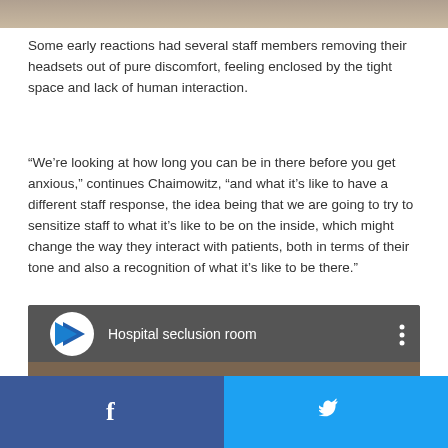[Figure (photo): Top portion of a photo, partially cut off — appears to show a person or room scene with brown/tan tones]
Some early reactions had several staff members removing their headsets out of pure discomfort, feeling enclosed by the tight space and lack of human interaction.
“We’re looking at how long you can be in there before you get anxious,” continues Chaimowitz, “and what it’s like to have a different staff response, the idea being that we are going to try to sensitize staff to what it’s like to be on the inside, which might change the way they interact with patients, both in terms of their tone and also a recognition of what it’s like to be there.”
[Figure (screenshot): Video thumbnail for 'Hospital seclusion room' with a circular blue and white play button icon, and a hand visible in the lower portion of the thumbnail]
Facebook share | Twitter share